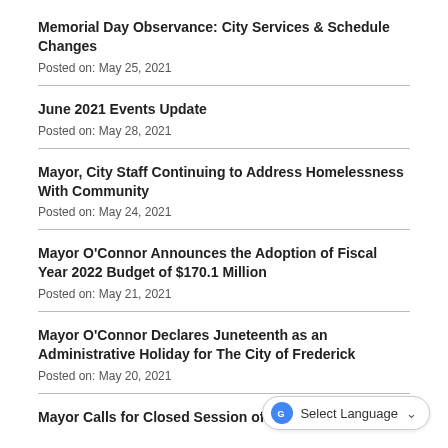Memorial Day Observance: City Services & Schedule Changes
Posted on: May 25, 2021
June 2021 Events Update
Posted on: May 28, 2021
Mayor, City Staff Continuing to Address Homelessness With Community
Posted on: May 24, 2021
Mayor O'Connor Announces the Adoption of Fiscal Year 2022 Budget of $170.1 Million
Posted on: May 21, 2021
Mayor O'Connor Declares Juneteenth as an Administrative Holiday for The City of Frederick
Posted on: May 20, 2021
Mayor Calls for Closed Session of Aldermen